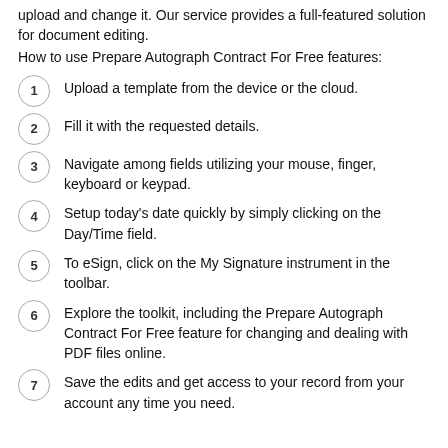upload and change it. Our service provides a full-featured solution for document editing.
How to use Prepare Autograph Contract For Free features:
1. Upload a template from the device or the cloud.
2. Fill it with the requested details.
3. Navigate among fields utilizing your mouse, finger, keyboard or keypad.
4. Setup today's date quickly by simply clicking on the Day/Time field.
5. To eSign, click on the My Signature instrument in the toolbar.
6. Explore the toolkit, including the Prepare Autograph Contract For Free feature for changing and dealing with PDF files online.
7. Save the edits and get access to your record from your account any time you need.